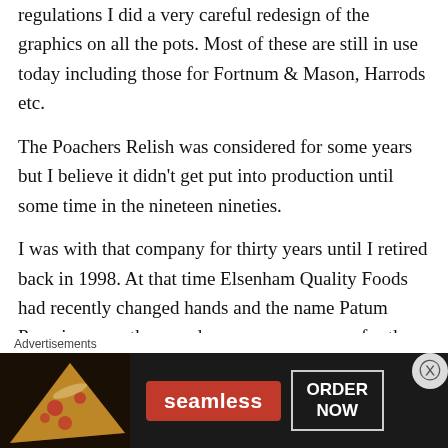regulations I did a very careful redesign of the graphics on all the pots. Most of these are still in use today including those for Fortnum & Mason, Harrods etc.
The Poachers Relish was considered for some years but I believe it didn't get put into production until some time in the nineteen nineties.
I was with that company for thirty years until I retired back in 1998. At that time Elsenham Quality Foods had recently changed hands and the name Patum Peperium was then used as a company name for the product The Gentlemans Relish and sold off. I don't know who bought it
Advertisements
[Figure (infographic): Seamless food delivery advertisement banner showing pizza image on left, red Seamless logo in center, and ORDER NOW button on right against dark background]